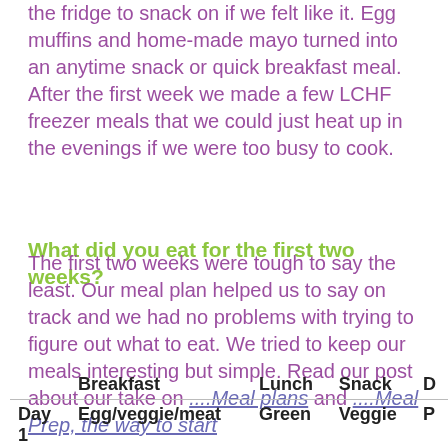the fridge to snack on if we felt like it. Egg muffins and home-made mayo turned into an anytime snack or quick breakfast meal. After the first week we made a few LCHF freezer meals that we could just heat up in the evenings if we were too busy to cook.
What did you eat for the first two weeks?
The first two weeks were tough to say the least. Our meal plan helped us to say on track and we had no problems with trying to figure out what to eat. We tried to keep our meals interesting but simple. Read our post about our take on ....Meal plans and ....Meal Prep, the way to start
|  | Breakfast | Lunch | Snack | D |
| --- | --- | --- | --- | --- |
| Day 1 | Egg/veggie/meat | Green | Veggie | P |